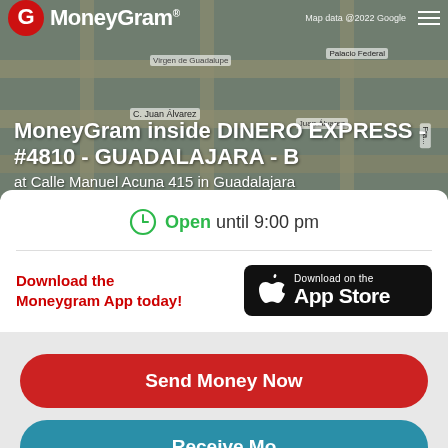[Figure (screenshot): Google Maps screenshot showing street map of Guadalajara area with Palacio Federal visible at top]
MoneyGram
MoneyGram inside DINERO EXPRESS - #4810 - GUADALAJARA - B
at Calle Manuel Acuna 415 in Guadalajara
Open until 9:00 pm
Download the Moneygram App today!
[Figure (logo): Download on the App Store badge with Apple logo]
Send Money Now
Receive Mo...